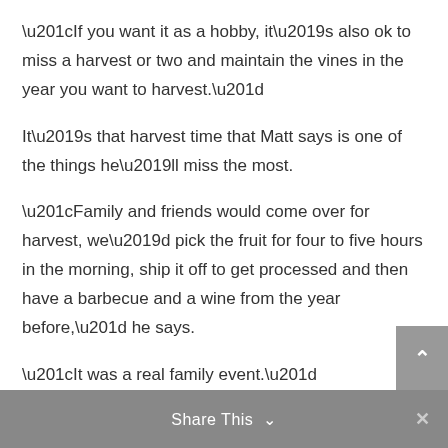“If you want it as a hobby, it’s also ok to miss a harvest or two and maintain the vines in the year you want to harvest.”
It’s that harvest time that Matt says is one of the things he’ll miss the most.
“Family and friends would come over for harvest, we’d pick the fruit for four to five hours in the morning, ship it off to get processed and then have a barbecue and a wine from the year before,” he says.
“It was a real family event.”
Share This ∨ ×